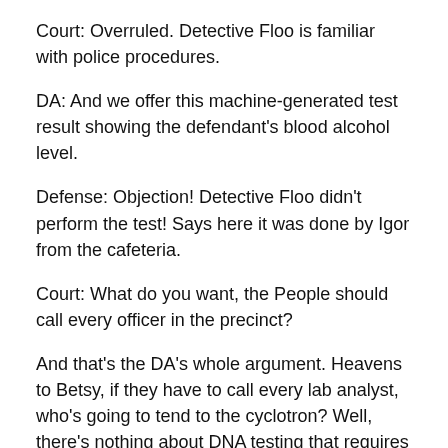Court: Overruled. Detective Floo is familiar with police procedures.
DA: And we offer this machine-generated test result showing the defendant's blood alcohol level.
Defense: Objection! Detective Floo didn't perform the test! Says here it was done by Igor from the cafeteria.
Court: What do you want, the People should call every officer in the precinct?
And that's the DA's whole argument. Heavens to Betsy, if they have to call every lab analyst, who's going to tend to the cyclotron? Well, there's nothing about DNA testing that requires 12 analysts. But Igor may not testify so well – it needs a trained professional witness like Miss Muffet to keep the jury awake.